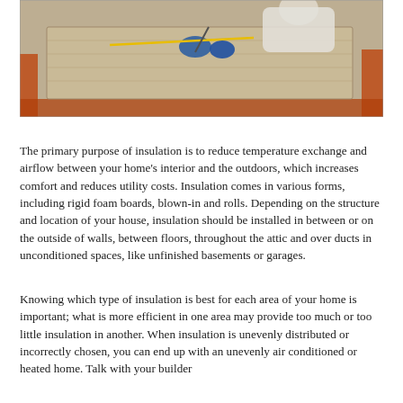[Figure (photo): A worker in blue gloves measuring and cutting insulation material (rigid foam board) with a measuring tape on a construction site with orange framing visible.]
The primary purpose of insulation is to reduce temperature exchange and airflow between your home's interior and the outdoors, which increases comfort and reduces utility costs. Insulation comes in various forms, including rigid foam boards, blown-in and rolls. Depending on the structure and location of your house, insulation should be installed in between or on the outside of walls, between floors, throughout the attic and over ducts in unconditioned spaces, like unfinished basements or garages.
Knowing which type of insulation is best for each area of your home is important; what is more efficient in one area may provide too much or too little insulation in another. When insulation is unevenly distributed or incorrectly chosen, you can end up with an unevenly air conditioned or heated home. Talk with your builder...